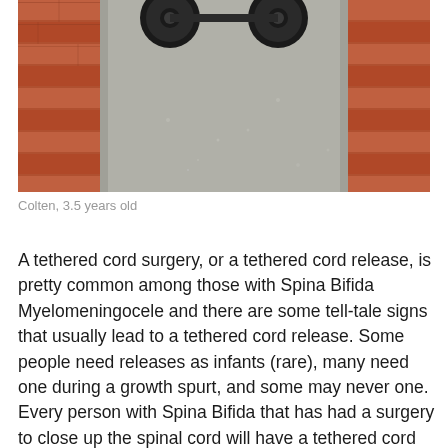[Figure (photo): Photo showing the bottom of a wheelchair or wheeled device on a concrete floor, with red brick pillars/walls visible on the left and right sides.]
Colten, 3.5 years old
A tethered cord surgery, or a tethered cord release, is pretty common among those with Spina Bifida Myelomeningocele and there are some tell-tale signs that usually lead to a tethered cord release. Some people need releases as infants (rare), many need one during a growth spurt, and some may never one. Every person with Spina Bifida that has had a surgery to close up the spinal cord will have a tethered cord (TC)- that is not the issue. It simply comes with the territory as a result of scar tissue build up. However, NOT everyone will require the TC